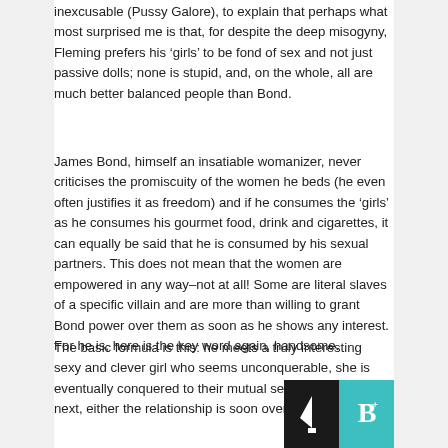inexcusable (Pussy Galore), to explain that perhaps what most surprised me is that, for despite the deep misogyny, Fleming prefers his 'girls' to be fond of sex and not just passive dolls; none is stupid, and, on the whole, all are much better balanced people than Bond.
James Bond, himself an insatiable womanizer, never criticises the promiscuity of the women he beds (he even often justifies it as freedom) and if he consumes the 'girls' as he consumes his gourmet food, drink and cigarettes, it can equally be said that he is consumed by his sexual partners. This does not mean that the women are empowered in any way–not at all! Some are literal slaves of a specific villain and are more than willing to grant Bond power over them as soon as he shows any interest. For he is, here is the key word again, handsome.
The basic formula is this: he meets a truly interesting sexy and clever girl who seems unconquerable, she is eventually conquered to their mutual sexual satisfaction; next, either the relationship is soon over with no m... ...satisfaction, and that it...